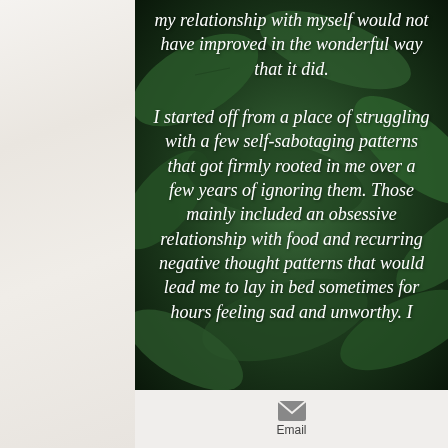[Figure (photo): Dark green leafy plant background with white italic text overlay containing a personal testimonial quote about self-improvement and self-sabotaging patterns]
my relationship with myself would not have improved in the wonderful way that it did.

I started off from a place of struggling with a few self-sabotaging patterns that got firmly rooted in me over a few years of ignoring them. Those mainly included an obsessive relationship with food and recurring negative thought patterns that would lead me to lay in bed sometimes for hours feeling sad and unworthy. I
Email